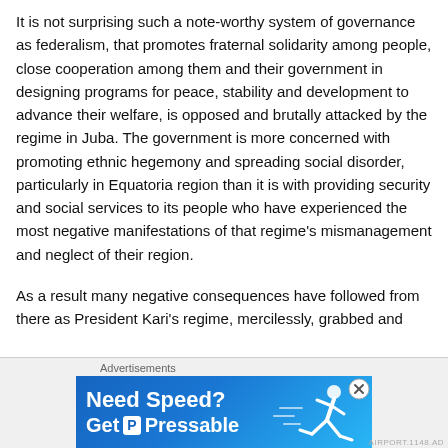It is not surprising such a note-worthy system of governance as federalism, that promotes fraternal solidarity among people, close cooperation among them and their government in designing programs for peace, stability and development to advance their welfare, is opposed and brutally attacked by the regime in Juba. The government is more concerned with promoting ethnic hegemony and spreading social disorder, particularly in Equatoria region than it is with providing security and social services to its people who have experienced the most negative manifestations of that regime's mismanagement and neglect of their region.
As a result many negative consequences have followed from there as President Kari's regime, mercilessly, grabbed and
[Figure (other): Advertisement banner: 'Advertisements' label above a blue banner reading 'Need Speed? Get P Pressable' with a running person graphic. Close button (X in circle) visible at top right.]